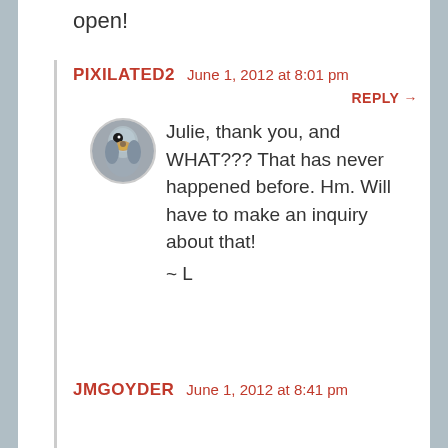open!
PIXILATED2   June 1, 2012 at 8:01 pm
REPLY →
[Figure (photo): Circular avatar photo of a bird (appears to be a parrot or similar bird)]
Julie, thank you, and WHAT??? That has never happened before. Hm. Will have to make an inquiry about that!
~ L
JMGOYDER   June 1, 2012 at 8:41 pm